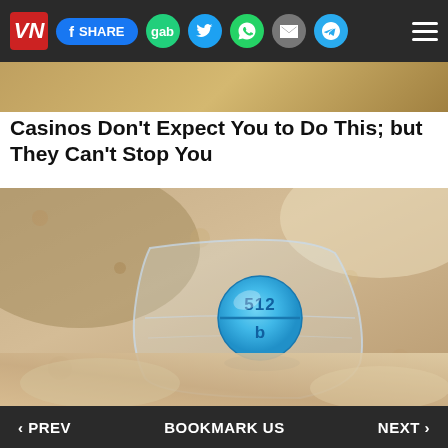VN logo, social share bar with Facebook SHARE, gab, Twitter, WhatsApp, email, Telegram, hamburger menu
[Figure (photo): Partial top portion of image visible above article title - background texture]
Casinos Don't Expect You to Do This; but They Can't Stop You
[Figure (photo): Close-up photo of a small round blue pill marked '512' on top half and 'b' on bottom half, inside a clear plastic bag, resting on a textured surface]
‹ PREV   BOOKMARK US   NEXT ›